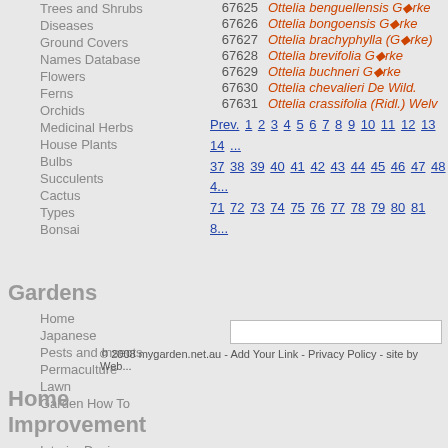Trees and Shrubs
Diseases
Ground Covers
Names Database
Flowers
Ferns
Orchids
Medicinal Herbs
House Plants
Bulbs
Succulents
Cactus
Types
Bonsai
67625 Ottelia benguellensis G◆rke
67626 Ottelia bongoensis G◆rke
67627 Ottelia brachyphylla (G◆rke)
67628 Ottelia brevifolia G◆rke
67629 Ottelia buchneri G◆rke
67630 Ottelia chevalieri De Wild.
67631 Ottelia crassifolia (Ridl.) Welv
Prev. 1 2 3 4 5 6 7 8 9 10 11 12 13 14 ... 37 38 39 40 41 42 43 44 45 46 47 48 4... 71 72 73 74 75 76 77 78 79 80 81 8...
Gardens
Home
Japanese
Pests and Insects
Permaculture
Lawn
Garden How To
© 2008 mygarden.net.au - Add Your Link - Privacy Policy - site by Web...
Home Improvement
Interior Design
Decorating
House Improvement
Security
Finance